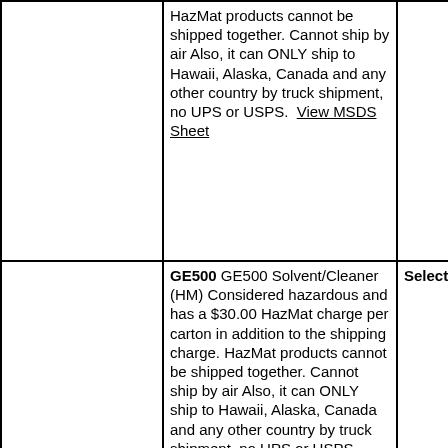|  | HazMat products cannot be shipped together. Cannot ship by air Also, it can ONLY ship to Hawaii, Alaska, Canada and any other country by truck shipment, no UPS or USPS. View MSDS Sheet |  |
|  | GE500 GE500 Solvent/Cleaner (HM) Considered hazardous and has a $30.00 HazMat charge per carton in addition to the shipping charge. HazMat products cannot be shipped together. Cannot ship by air Also, it can ONLY ship to Hawaii, Alaska, Canada and any other country by truck shipment, no UPS or USPS. | Select Size |
|  | MS408 Ancolite Glaze Cleaner (HM) - |  |